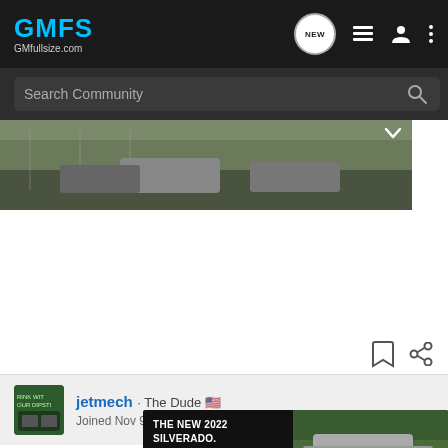GMFS GMfullsize.com
Search Community
[Figure (photo): Outdoor scene with vehicles parked near a chain-link fence with trees in the background]
jetmech · The Dude 🇺🇸
Joined Nov 9, 2004 · 505 Posts
#3 · Jul 8, 2009
Napa has a remanufactured one for 41 and change, 63 for a new one ... 4 mounting ... to it.
[Figure (photo): Advertisement: THE NEW 2022 SILVERADO. Explore. Chevrolet logo. Photo of silver Silverado truck on road with trees.]